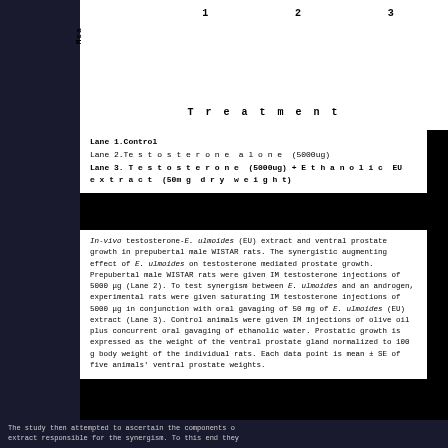[Figure (other): Bar chart of ventral prostate growth measurements for 3 treatment lanes (Control, Testosterone alone 5000ug, Testosterone + Ethanolic EU extract). Y-axis labeled 'Mean', x-axis labeled 'Treatment' with values 1, 2, 3.]
Lane 1.Control
Lane 2.Testosterone alone (5000ug)
Lane 3. Testosterone (5000ug) + Ethanolic EU extract (50mg dry weight)
In-vivo testosterone-E. ulmoides (EU) extract and ventral prostate growth in prepubertal male WISTAR rats. The synergistic augmenting effect of E. ulmoides on testosterone mediated prostate growth. Prepubertal male WISTAR rats were given IM testosterone injections of 5000 μg (Lane 2). To test synergism between E. ulmoides and an androgen, experimental rats were given saturating IM testosterone injections of 5000 μg in conjunction with oral gavaging of 50 mg of E. ulmoides (EU) extract (Lane 3). Control animals were given IM injections of olive oil plus concurrent oral gavaging of ethanolic water. Prostatic growth is expressed as the weight of the ventral prostate gland normalized to 100 g body weight of the individual rats. Each data point is mean ± SE of five animals' ventral prostate weights.
The study then attempted to ascertain the components of extract responsible for the synergism. To this end they